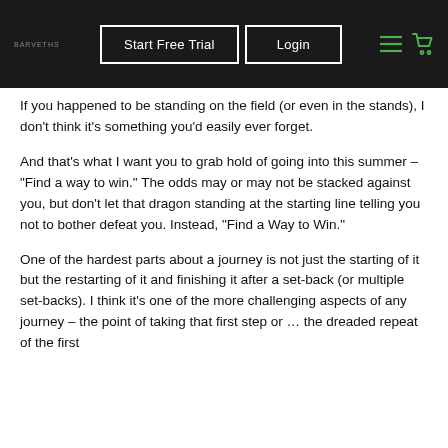Start Free Trial  Login
If you happened to be standing on the field (or even in the stands), I don’t think it’s something you’d easily ever forget.
And that’s what I want you to grab hold of going into this summer – “Find a way to win.” The odds may or may not be stacked against you, but don’t let that dragon standing at the starting line telling you not to bother defeat you. Instead, “Find a Way to Win.”
One of the hardest parts about a journey is not just the starting of it but the restarting of it and finishing it after a set-back (or multiple set-backs). I think it’s one of the more challenging aspects of any journey – the point of taking that first step or … the dreaded repeat of the first